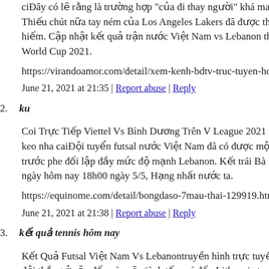ciĐây có lẽ rằng là trường hợp "của đi thay người" khá may. Thiếu chút nữa tay ném của Los Angeles Lakers đã được thể hiếm. Cập nhật kết quả trận nước Việt Nam vs Lebanon thuộc World Cup 2021.
https://virandoamor.com/detail/xem-kenh-bdtv-truc-tuyen-hom-nay
June 21, 2021 at 21:35 | Report abuse | Reply
ku
Coi Trực Tiếp Viettel Vs Bình Dương Trên V League 2021 Ở keo nha caiĐội tuyển futsal nước Việt Nam đã có được một trước phe đối lập đầy mức độ mạnh Lebanon. Kết trái Bà R ngày hôm nay 18h00 ngày 5/5, Hạng nhất nước ta.
https://equinome.com/detail/bongdaso-7mau-thai-129919.html
June 21, 2021 at 21:38 | Report abuse | Reply
kết quả tennis hôm nay
Kết Quả Futsal Việt Nam Vs Lebanontruyền hình trực tuyến đội thắng ở cặp đấu này sẽ giành tấm vé đến Lithuania trong thế giới đến futsal. Tuyển futsal Việt Nam bước vào trận play off World Cup 2021 với sự tự tin. Tuy vậy, HLV Phạm Minh ngán Lebanon song sẽ tìm cách để khắc chế sức mạnh của đ